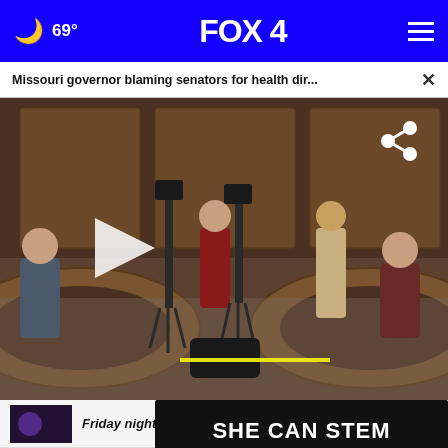FOX 4 — 69° navigation bar
Missouri governor blaming senators for health dir... ×
[Figure (screenshot): A government hearing room showing people seated at curved wooden desks with camera crews and reporters in the center. A white play button triangle is visible on the left side. A share icon is in the upper right of the video.]
Friday night
Latest Missouri lake report bo...
SHE CAN STEM